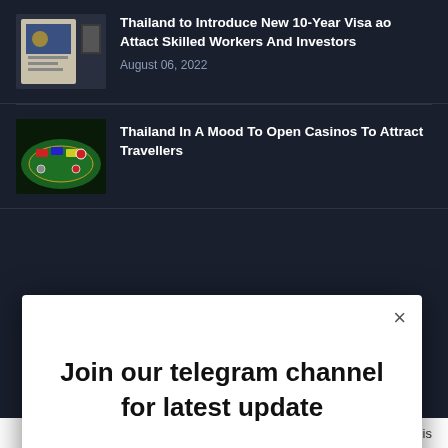[Figure (screenshot): News website screenshot with dark background showing two article rows and a modal popup dialog]
Thailand to Introduce New 10-Year Visa ao Attact Skilled Workers And Investors
August 06, 2022
Thailand In A Mood To Open Casinos To Attract Travellers
Join our telegram channel for latest update
Yes please!
No, thanks!
AddThis